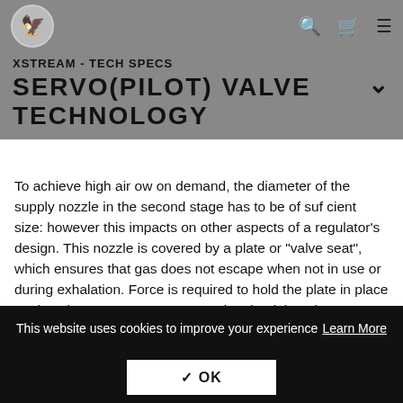SERVO(PILOT) VALVE TECHNOLOGY | XSTREAM - TECH SPECS
SERVO(PILOT) VALVE TECHNOLOGY
To achieve high air ow on demand, the diameter of the supply nozzle in the second stage has to be of suf cient size: however this impacts on other aspects of a regulator's design. This nozzle is covered by a plate or "valve seat", which ensures that gas does not escape when not in use or during exhalation. Force is required to hold the plate in place against the gas pressure – assuming that it is a downstream opening valve seat, as is the case in most conventional regulators. It is the force required to "crack open" the valve – the inhalation effort – which divers want to keep to a minimum.
As mentioned, with the nozzle diameter "set" according to physical laws, therefore the corresponding force to seal the nozzle is also
This website uses cookies to improve your experience Learn More | ✓ OK